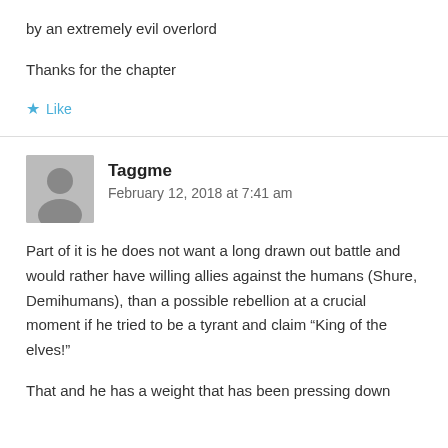by an extremely evil overlord
Thanks for the chapter
Like
Taggme
February 12, 2018 at 7:41 am
Part of it is he does not want a long drawn out battle and would rather have willing allies against the humans (Shure, Demihumans), than a possible rebellion at a crucial moment if he tried to be a tyrant and claim “King of the elves!”
That and he has a weight that has been pressing down